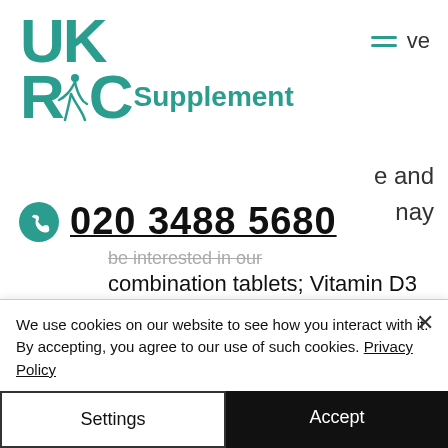[Figure (logo): UKRC Supplement logo with teal letters and dancer silhouette]
ve
e and
nay
020 3488 5680
be interested in our combination tablets; Vitamin D3 and Vitamin K2-MK4.
160 City Rd, London, EC1V 2NX
We use cookies on our website to see how you interact with it. By accepting, you agree to our use of such cookies. Privacy Policy
Settings
Accept